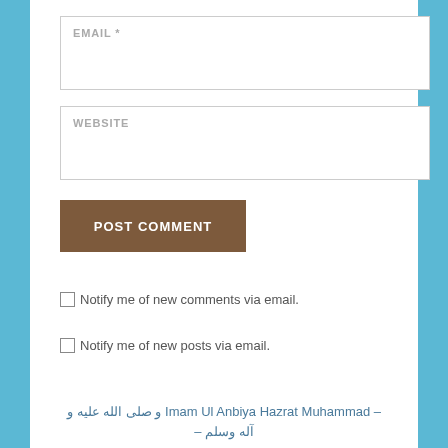EMAIL *
WEBSITE
POST COMMENT
Notify me of new comments via email.
Notify me of new posts via email.
– Imam Ul Anbiya Hazrat Muhammad و صلى الله عليه و آله وسلم –